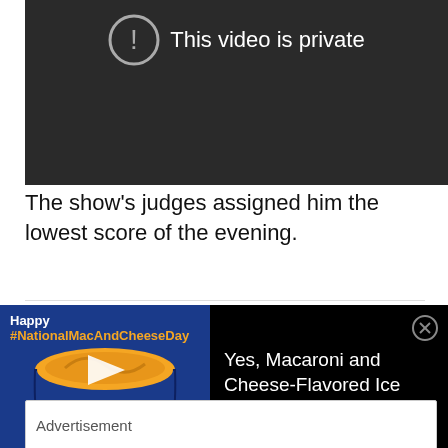[Figure (screenshot): Dark video player showing 'This video is private' message with an exclamation mark icon]
The show's judges assigned him the lowest score of the evening.
[Figure (screenshot): Advertisement for Macaroni and Cheese Day featuring a cup of mac and cheese with a play button overlay on a blue background, with text 'Yes, Macaroni and Cheese-Flavored Ice Cream Exists' on a black background]
Advertisement